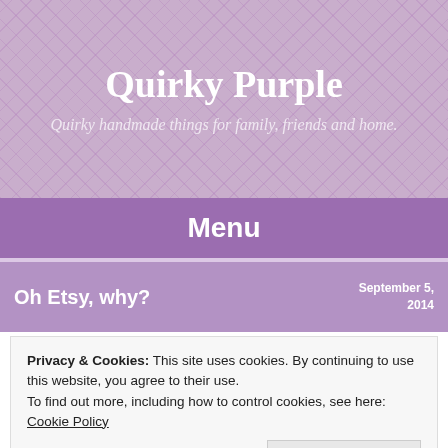Quirky Purple
Quirky handmade things for family, friends and home.
Menu
Oh Etsy, why?
September 5, 2014
BY QUIRKYP
Just a moan really…
Privacy & Cookies: This site uses cookies. By continuing to use this website, you agree to their use.
To find out more, including how to control cookies, see here: Cookie Policy
Close and accept
know about you but I really like to